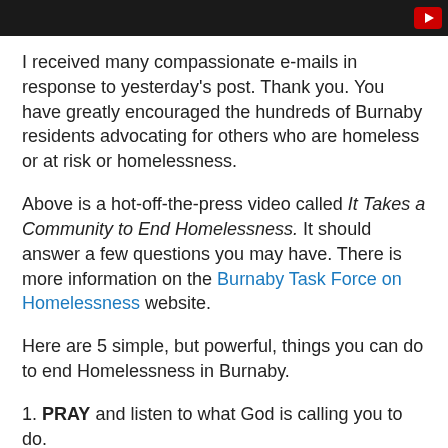[Figure (screenshot): Dark video player bar at top of page with a play button icon in the top right corner]
I received many compassionate e-mails in response to yesterday's post. Thank you. You have greatly encouraged the hundreds of Burnaby residents advocating for others who are homeless or at risk or homelessness.
Above is a hot-off-the-press video called It Takes a Community to End Homelessness. It should answer a few questions you may have. There is more information on the Burnaby Task Force on Homelessness website.
Here are 5 simple, but powerful, things you can do to end Homelessness in Burnaby.
1. PRAY and listen to what God is calling you to do.
2. Go to the Burnaby Task Force on Homelessness